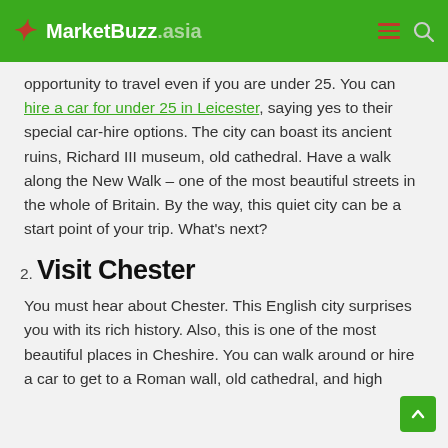MarketBuzz.asia
opportunity to travel even if you are under 25. You can hire a car for under 25 in Leicester, saying yes to their special car-hire options. The city can boast its ancient ruins, Richard III museum, old cathedral. Have a walk along the New Walk – one of the most beautiful streets in the whole of Britain. By the way, this quiet city can be a start point of your trip. What's next?
2. Visit Chester
You must hear about Chester. This English city surprises you with its rich history. Also, this is one of the most beautiful places in Cheshire. You can walk around or hire a car to get to a Roman wall, old cathedral, and high